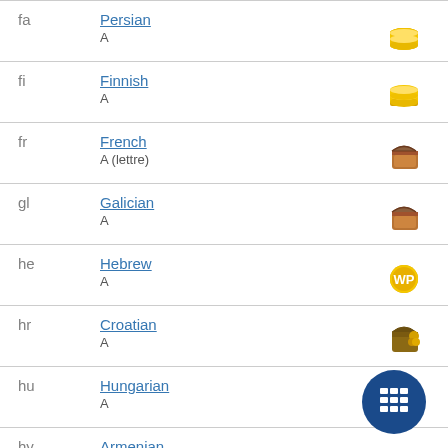| Code | Language | Icon |
| --- | --- | --- |
| fa | Persian
A | coins |
| fi | Finnish
A | coins |
| fr | French
A (lettre) | chest |
| gl | Galician
A | chest |
| he | Hebrew
A | coin-wp |
| hr | Croatian
A | chest |
| hu | Hungarian
A | coins |
| hy | Armenian
A (լատինական… | chest |
| id | Indonesian | coin |
[Figure (illustration): Blue circular calculator button overlay in the bottom-center area of the page]